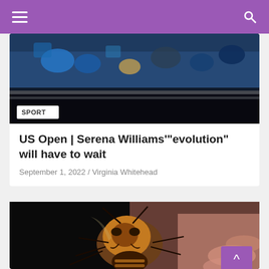Navigation bar with hamburger menu and search icon
[Figure (photo): Stadium crowd photo with SPORT badge overlay]
US Open | Serena Williams' "evolution" will have to wait
September 1, 2022 / Virginia Whitehead
[Figure (photo): Close-up photo of a large hornet or murder hornet being held by human fingers]